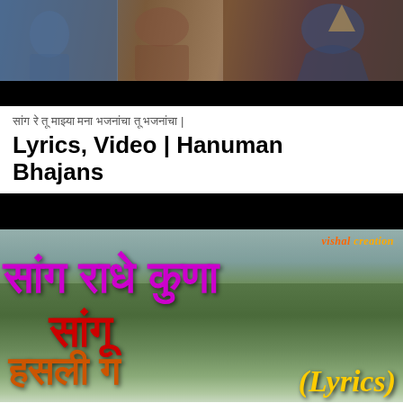[Figure (photo): Top banner image showing devotees and deity figures against a dark/brown background, appears to be a YouTube thumbnail for a bhajan video]
सांग रे तू माझ्या मना भजनांचा तू भजनांचा | Lyrics, Video | Hanuman Bhajans
[Figure (screenshot): Video thumbnail showing Marathi text 'सांग राधे कुणा सांगू हसली ग' with 'VISHAL CREATION' watermark and '(Lyrics)' text overlay on landscape background. Text in purple, red, orange colors.]